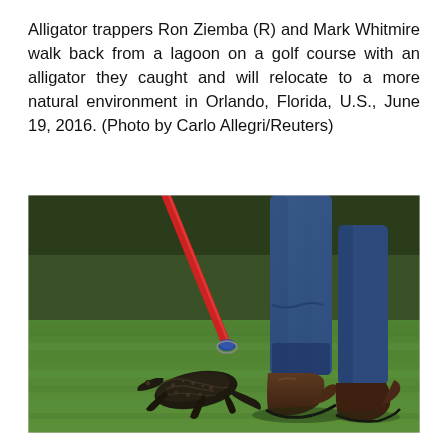Alligator trappers Ron Ziemba (R) and Mark Whitmire walk back from a lagoon on a golf course with an alligator they caught and will relocate to a more natural environment in Orlando, Florida, U.S., June 19, 2016. (Photo by Carlo Allegri/Reuters)
[Figure (photo): A small alligator being controlled with a red pole/snare by a person in blue jeans and brown boots, standing on green golf course grass.]